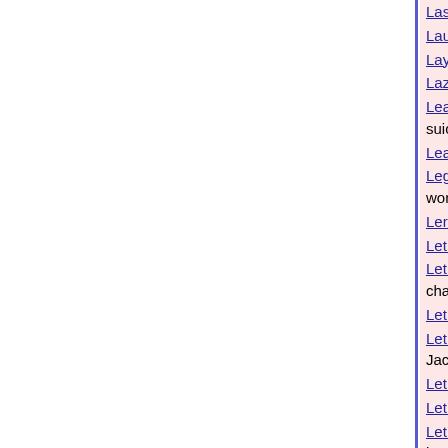Last Of The Mohegans (Songs) - [140 words]
Laugh Out Loud (Songs) Laugh Out Loud sho…
Laying On Hands (Poetry) - [146 words]
Lazarus (Songs) Lazarus is a contemporary g…
Leap (Songs) Leap was inspired by a news st… suicide. [153 words]
Leaving Washington (Songs) - [109 words]
Legacy (It's Killing Me) (Songs) The Legacy Is… words]
Leroy Brown's End (Songs) - [209 words]
Let It All Hang Out (Songs) - [142 words]
Let It Do What It Do (Songs) Let It Do What It… chance. [216 words]
Let Me Ask You A Question (Songs) - [344 wo…
Let Me Ask You Lady… (Songs) Let Me Ask Y… Jackson and his relationship with ex-wife Deb…
Let Me Be Frank (Poetry) - [197 words]
Let Me Be (What You See) (Songs) - [97 wor…
Let Me Do What I Do (Songs) Let Me Do Wha… itself. [192 words]
Let Me Know (What'S The Deal?) (Songs) Le…
Let Me Push Up On You Baby (Songs) Let Me… [296 words]
Let Me Stand Here For You (Songs) Let Me S… Iraq war veteran whom utter those words of e… who was a double amputee. This song should…
Let Me Tell My Story (Songs) - [196 words]